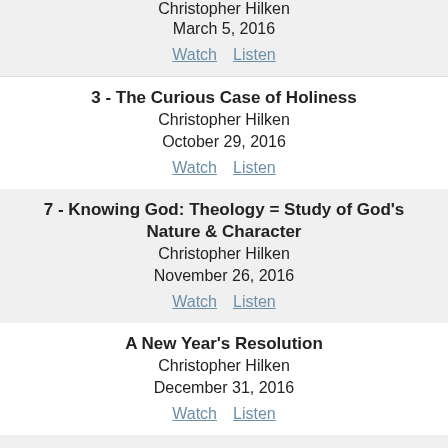Christopher Hilken
March 5, 2016
Watch  Listen
3 - The Curious Case of Holiness
Christopher Hilken
October 29, 2016
Watch  Listen
7 - Knowing God: Theology = Study of God's Nature & Character
Christopher Hilken
November 26, 2016
Watch  Listen
A New Year's Resolution
Christopher Hilken
December 31, 2016
Watch  Listen
11 - Sin Exposed
Christopher Hilken
March 19, 2017